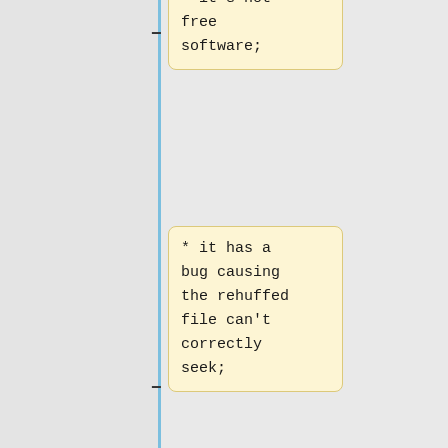* it's not free software;
* it has a bug causing the rehuffed file can't correctly seek;
* it works only with stereo files.
Would be nice to have an updated rebuff.
===SHARE application for the Spread Open